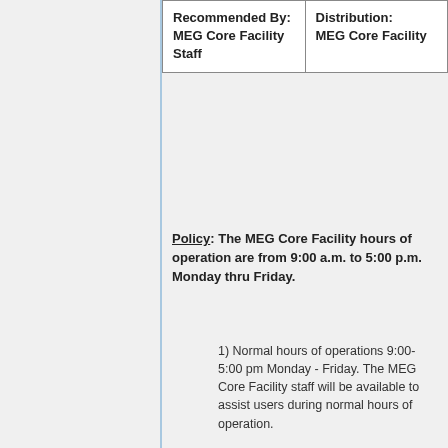| Recommended By:
MEG Core Facility Staff | Distribution:
MEG Core Facility |
Policy: The MEG Core Facility hours of operation are from 9:00 a.m. to 5:00 p.m. Monday thru Friday.
1) Normal hours of operations 9:00-5:00 pm Monday - Friday. The MEG Core Facility staff will be available to assist users during normal hours of operation.
2) Users may schedule scans for after hours provided they have received training and are capable of operating MEG equipment in accordance with MEG policies